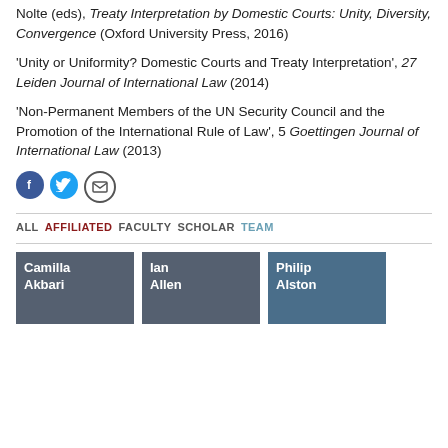Nolte (eds), Treaty Interpretation by Domestic Courts: Unity, Diversity, Convergence (Oxford University Press, 2016)
'Unity or Uniformity? Domestic Courts and Treaty Interpretation', 27 Leiden Journal of International Law (2014)
'Non-Permanent Members of the UN Security Council and the Promotion of the International Rule of Law', 5 Goettingen Journal of International Law (2013)
[Figure (infographic): Social media icons: Facebook (blue circle), Twitter (light blue circle), Email (white circle with envelope)]
ALL  AFFILIATED  FACULTY  SCHOLAR  TEAM
Camilla Akbari
Ian Allen
Philip Alston